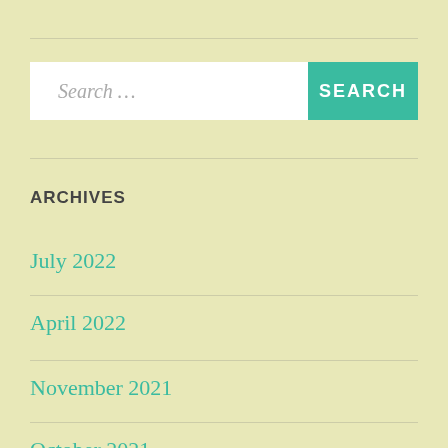[Figure (other): Search bar with white input field showing 'Search ...' placeholder and teal SEARCH button]
ARCHIVES
July 2022
April 2022
November 2021
October 2021